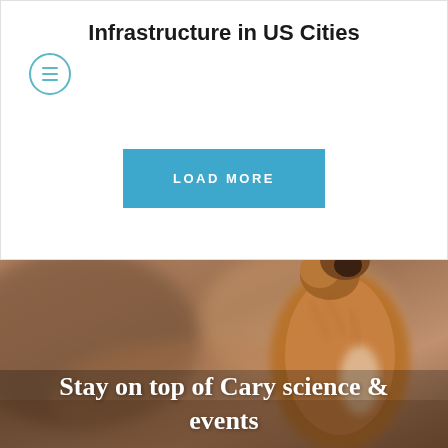Infrastructure in US Cities
LOAD MORE
[Figure (photo): A fox or squirrel viewed from behind against a blurred brown background, with fur visible]
Stay on top of Cary science & events